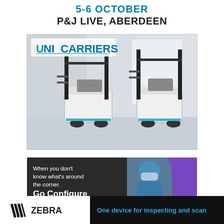5-6 OCTOBER
P&J LIVE, ABERDEEN
[Figure (photo): UniCarriers advertisement showing two white electric forklifts in a warehouse with the UniCarriers logo (green and blue)]
[Figure (photo): Go Configure advertisement showing a masked warehouse worker with text 'When you don't know what's around the corner. Go Configure' against a dark and purple background]
[Figure (logo): Zebra Technologies banner ad: Zebra logo on white background left, blue text 'One device for inspecting and scan...' on black background right]